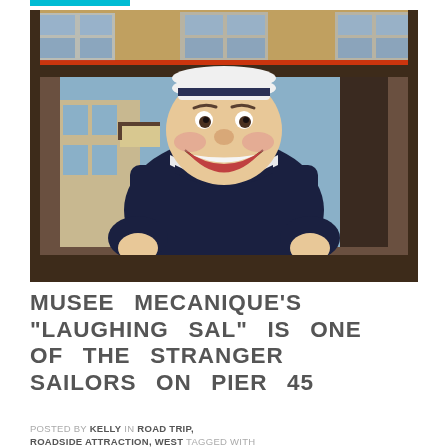[Figure (photo): A laughing sailor automaton figure dressed in a dark navy sailor outfit with a white sailor hat, displayed inside a wooden booth with a painted background scene of a coastal town. The figure has an exaggerated smiling face. This is 'Laughing Sal' from Musee Mecanique at Pier 45.]
MUSEE MECANIQUE'S "LAUGHING SAL" IS ONE OF THE STRANGER SAILORS ON PIER 45
POSTED BY KELLY IN ROAD TRIP, ROADSIDE ATTRACTION, WEST TAGGED WITH